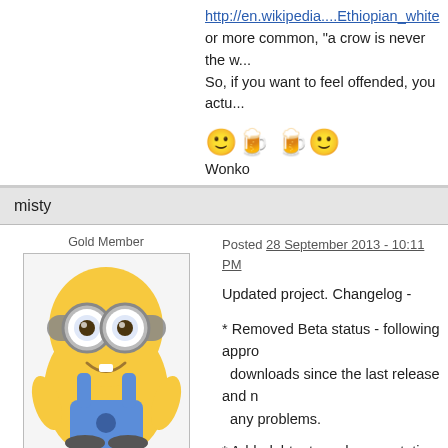http://en.wikipedia....Ethiopian_white
or more common, "a crow is never the w...
So, if you want to feel offended, you actu...
🙂🍺🍺🙂
Wonko
misty
Gold Member
[Figure (illustration): Avatar image of a Minion character from Despicable Me, yellow cartoon character with goggles and overalls]
Developer
★★★★☆☆☆☆☆☆
Posted 28 September 2013 - 10:11 PM
Updated project. Changelog -
* Removed Beta status - following appro... downloads since the last release and n... any problems.
* Added .htm type documentation to the ... download - documentation also availabl...